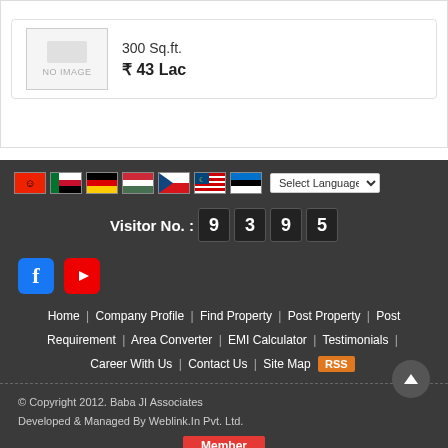[Figure (other): NO IMAGE placeholder box with small grey rectangle icon above text]
300 Sq.ft.
₹ 43 Lac
[Figure (other): Row of country flag icons (Albania, UAE, Germany, Hungary, Czech Republic, Malaysia, Estonia) followed by a Select Language dropdown]
Visitor No. : 9 3 9 5
[Figure (other): Facebook and YouTube social media icon buttons]
Home  |  Company Profile  |  Find Property  |  Post Property  |  Post Requirement  |  Area Converter  |  EMI Calculator  |  Testimonials  |  Career With Us  |  Contact Us  |  Site Map  RSS
© Copyright 2012. Baba JI Associates
Developed & Managed By Weblink.In Pvt. Ltd.
[Figure (logo): Member badge (red) above Real Estate India logo]